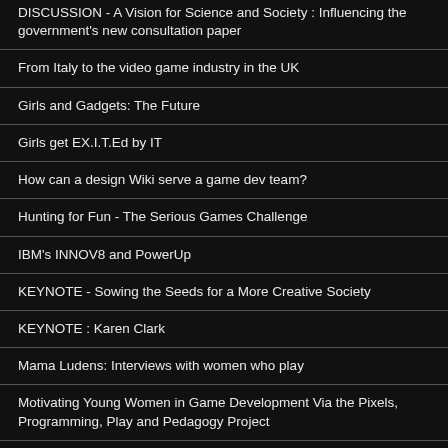DISCUSSION - A Vision for Science and Society : Influencing the government's new consultation paper
From Italy to the video game industry in the UK
Girls and Gadgets: The Future
Girls get EX.I.T.Ed by IT
How can a design Wiki serve a game dev team?
Hunting for Fun - The Serious Games Challenge
IBM's INNOV8 and PowerUp
KEYNOTE - Sowing the Seeds for a More Creative Society
KEYNOTE : Karen Clark
Mama Ludens: Interviews with women who play
Motivating Young Women in Game Development Via the Pixels, Programming, Play and Pedagogy Project
OPEN Meeting - Futures - Open to all - to discuss future direction(s) of Women In Games conference